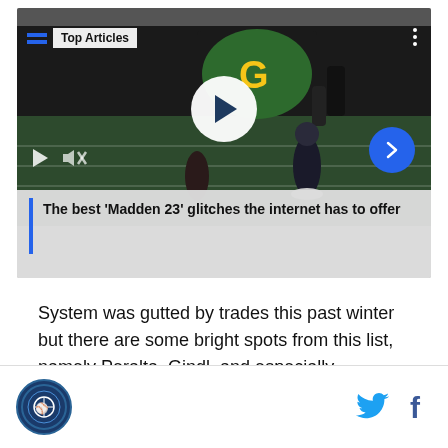[Figure (screenshot): Video player showing a football game still, with 'Top Articles' badge overlay, play button in center, transport controls at bottom left, blue arrow button at bottom right, and caption 'The best Madden 23 glitches the internet has to offer' with blue left border bar.]
System was gutted by trades this past winter but there are some bright spots from this list, namely Peralta, Gindl, and especially Thornburg.
[Figure (logo): Circular sports team logo with blue border and baseball/sports imagery]